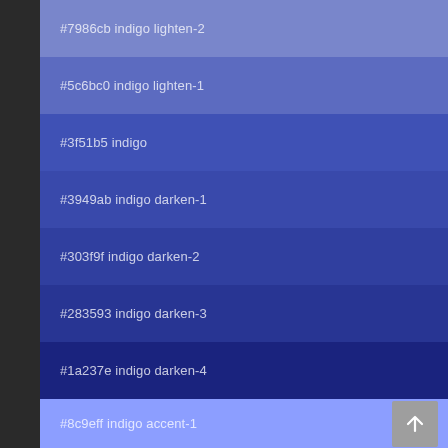#7986cb indigo lighten-2
#5c6bc0 indigo lighten-1
#3f51b5 indigo
#3949ab indigo darken-1
#303f9f indigo darken-2
#283593 indigo darken-3
#1a237e indigo darken-4
#8c9eff indigo accent-1